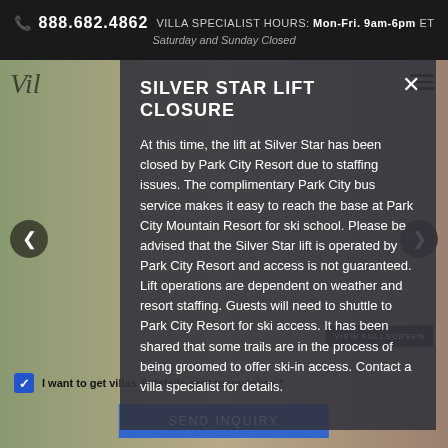📞 888.682.4862  VILLA SPECIALIST HOURS: Mon-Fri. 9am-6pm ET
Saturday and Sunday Closed
SILVER STAR LIFT CLOSURE
At this time, the lift at Silver Star has been closed by Park City Resort due to staffing issues. The complimentary Park City bus service makes it easy to reach the base at Park City Mountain Resort for ski school. Please be advised that the Silver Star lift is operated by Park City Resort and access is not guaranteed. Lift operations are dependent on weather and resort staffing. Guests will need to shuttle to Park City Resort for ski access. It has been shared that some trails are in the process of being groomed to offer ski-in access. Contact a villa specialist for details.
I want to get villas & details sent to my inbox.*
SEND INQUIRY